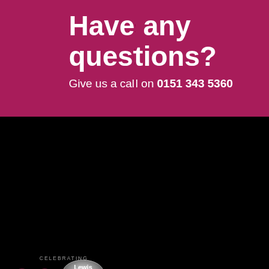Have any questions?
Give us a call on 0151 343 5360
[Figure (logo): Lewis Reed Celebrating 20 Years 1999-2019 logo on black background]
[Figure (infographic): Social media icons: Facebook, Twitter, YouTube]
Data Retention Policy